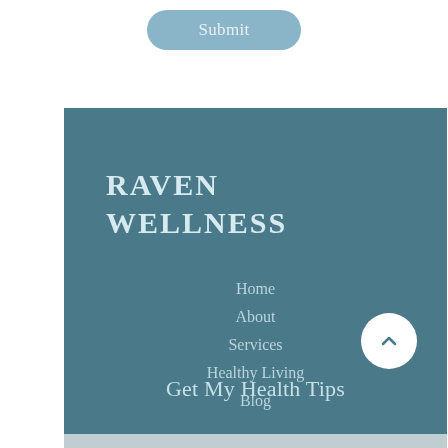[Figure (screenshot): Submit button with rounded pill shape and light blue background]
RAVEN WELLNESS
Home
About
Services
Healthy Living
Blog
Get My Health Tips